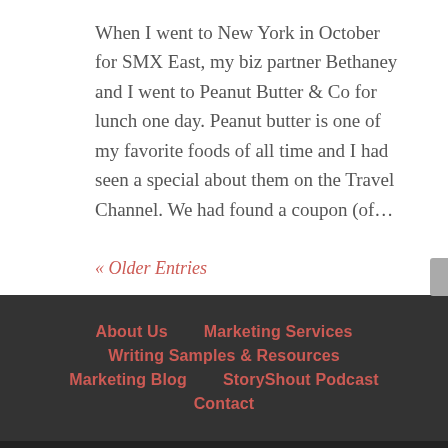When I went to New York in October for SMX East, my biz partner Bethaney and I went to Peanut Butter & Co for lunch one day. Peanut butter is one of my favorite foods of all time and I had seen a special about them on the Travel Channel. We had found a coupon (of…
« Older Entries
About Us   Marketing Services   Writing Samples & Resources   Marketing Blog   StoryShout Podcast   Contact
Designed by Elegant Themes | Powered by WordPress